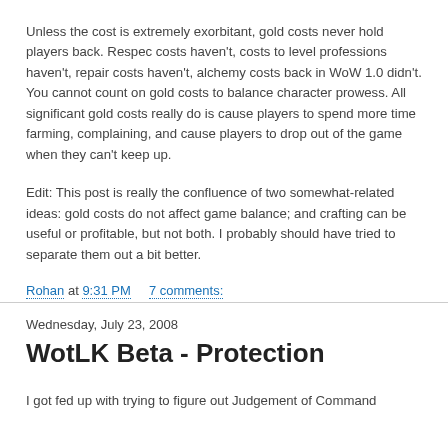Unless the cost is extremely exorbitant, gold costs never hold players back. Respec costs haven't, costs to level professions haven't, repair costs haven't, alchemy costs back in WoW 1.0 didn't. You cannot count on gold costs to balance character prowess. All significant gold costs really do is cause players to spend more time farming, complaining, and cause players to drop out of the game when they can't keep up.
Edit: This post is really the confluence of two somewhat-related ideas: gold costs do not affect game balance; and crafting can be useful or profitable, but not both. I probably should have tried to separate them out a bit better.
Rohan at 9:31 PM    7 comments:
Wednesday, July 23, 2008
WotLK Beta - Protection
I got fed up with trying to figure out Judgement of Command